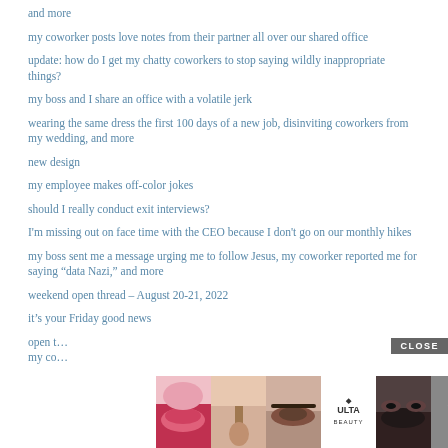and more
my coworker posts love notes from their partner all over our shared office
update: how do I get my chatty coworkers to stop saying wildly inappropriate things?
my boss and I share an office with a volatile jerk
wearing the same dress the first 100 days of a new job, disinviting coworkers from my wedding, and more
new design
my employee makes off-color jokes
should I really conduct exit interviews?
I'm missing out on face time with the CEO because I don't go on our monthly hikes
my boss sent me a message urging me to follow Jesus, my coworker reported me for saying “data Nazi,” and more
weekend open thread – August 20-21, 2022
it’s your Friday good news
open t…
my co…
[Figure (advertisement): ULTA beauty advertisement banner with close button, makeup images (lips, brush, eyes, ULTA logo, dramatic eyes), and SHOP NOW button]